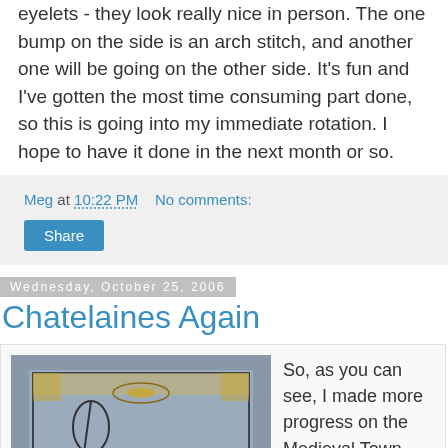eyelets - they look really nice in person. The one bump on the side is an arch stitch, and another one will be going on the other side. It's fun and I've gotten the most time consuming part done, so this is going into my immediate rotation. I hope to have it done in the next month or so.
Meg at 10:22 PM   No comments:
Share
Wednesday, October 25, 2006
Chatelaines Again
[Figure (photo): Photo of embroidery work in progress on grey fabric, showing beaded corners and an arch stitch design with a needle/loop visible]
So, as you can see, I made more progress on the Medieval Town M...